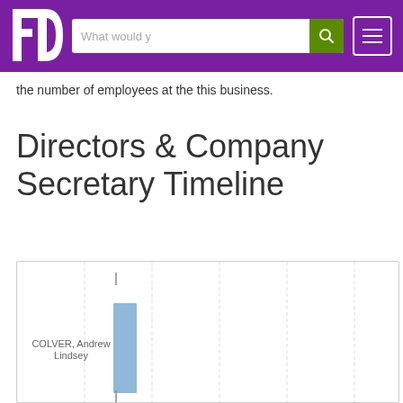FD — What would y [search] [menu]
the number of employees at the this business.
Directors & Company Secretary Timeline
[Figure (bar-chart): Horizontal timeline chart showing COLVER, Andrew Lindsey with a blue vertical bar indicating a tenure period. Multiple vertical dashed grid lines visible across the chart area.]